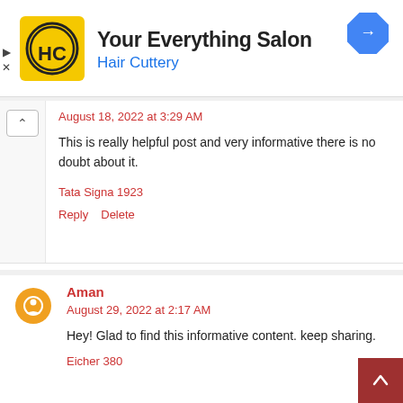[Figure (screenshot): Hair Cuttery advertisement banner with logo, title 'Your Everything Salon', subtitle 'Hair Cuttery', and a blue navigation arrow icon]
August 18, 2022 at 3:29 AM
This is really helpful post and very informative there is no doubt about it.
Tata Signa 1923
Reply  Delete
Aman
August 29, 2022 at 2:17 AM
Hey! Glad to find this informative content. keep sharing.
Eicher 380